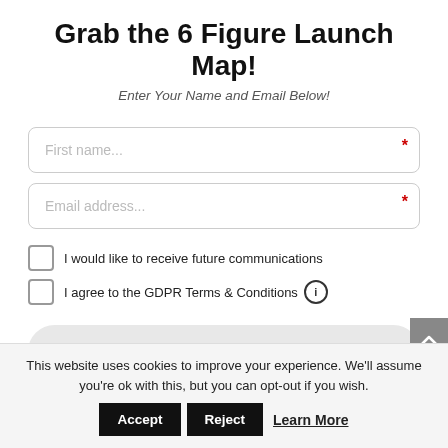Grab the 6 Figure Launch Map!
Enter Your Name and Email Below!
First name...
Email address...
I would like to receive future communications
I agree to the GDPR Terms & Conditions
Yes! Send the Map!
This website uses cookies to improve your experience. We'll assume you're ok with this, but you can opt-out if you wish.
Accept  Reject  Learn More